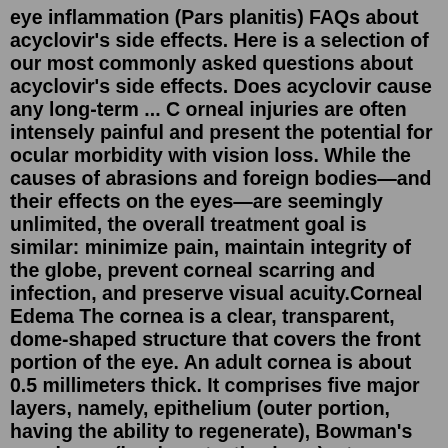eye inflammation (Pars planitis) FAQs about acyclovir's side effects. Here is a selection of our most commonly asked questions about acyclovir's side effects. Does acyclovir cause any long-term ... C orneal injuries are often intensely painful and present the potential for ocular morbidity with vision loss. While the causes of abrasions and foreign bodies—and their effects on the eyes—are seemingly unlimited, the overall treatment goal is similar: minimize pain, maintain integrity of the globe, prevent corneal scarring and infection, and preserve visual acuity.Corneal Edema The cornea is a clear, transparent, dome-shaped structure that covers the front portion of the eye. An adult cornea is about 0.5 millimeters thick. It comprises five major layers, namely, epithelium (outer portion, having the ability to regenerate), Bowman's membrane (hard, protective layer), stroma (thickest layer with collagen fibrils), Descemet's membrane (thin layer)…